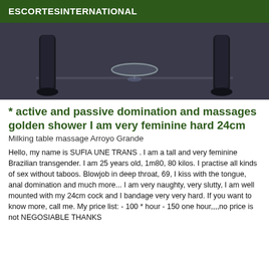ESCORTESINTERNATIONAL
[Figure (photo): Dark background photo showing a person's legs and a glass object in the center on a table surface]
* active and passive domination and massages golden shower I am very feminine hard 24cm
Milking table massage Arroyo Grande
Hello, my name is SUFIA UNE TRANS . I am a tall and very feminine Brazilian transgender. I am 25 years old, 1m80, 80 kilos. I practise all kinds of sex without taboos. Blowjob in deep throat, 69, I kiss with the tongue, anal domination and much more... I am very naughty, very slutty, I am well mounted with my 24cm cock and I bandage very very hard. If you want to know more, call me. My price list: - 100 * hour - 150 one hour,,,,no price is not NEGOSIABLE THANKS